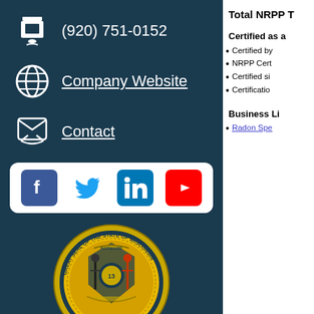(920) 751-0152
Company Website
Contact
[Figure (infographic): Social media icons bar: Facebook, Twitter, LinkedIn, YouTube]
[Figure (illustration): Great Seal of the State of Wisconsin circular emblem]
Wisconsin
State Radon Office Contact
Total NRPP T
Certified as a
Certified by
NRPP Cert
Certified si
Certificatio
Business Li
Radon Spe